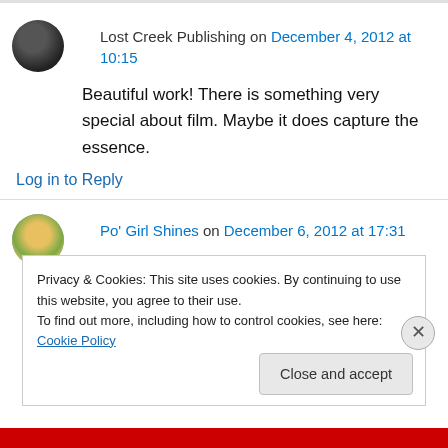Lost Creek Publishing on December 4, 2012 at 10:15
Beautiful work! There is something very special about film. Maybe it does capture the essence.
Log in to Reply
Po' Girl Shines on December 6, 2012 at 17:31
I used to work for various photo labs years ago. I
Privacy & Cookies: This site uses cookies. By continuing to use this website, you agree to their use.
To find out more, including how to control cookies, see here: Cookie Policy
Close and accept